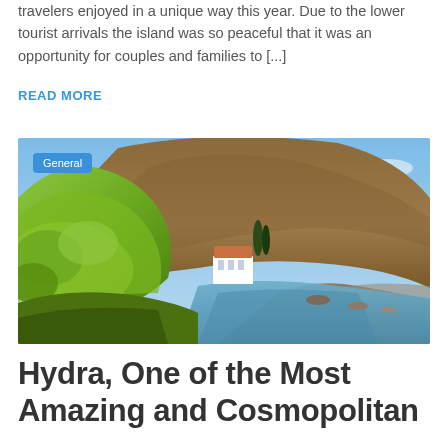travelers enjoyed in a unique way this year. Due to the lower tourist arrivals the island was so peaceful that it was an opportunity for couples and families to [...]
READ MORE
[Figure (photo): Coastal Mediterranean scene with lush green trees, a white building with an orange roof beside a rocky hillside, and a calm blue sea inlet with rocky shores under a partly cloudy sky. A 'General' category badge appears in the upper left corner.]
Hydra, One of the Most Amazing and Cosmopolitan